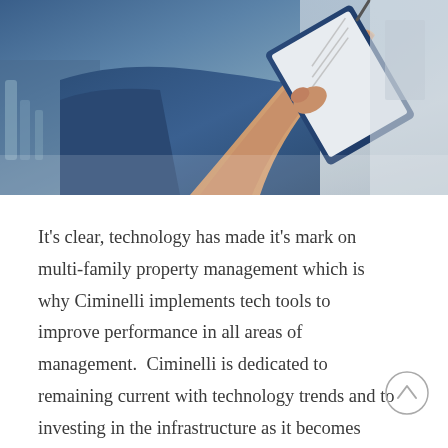[Figure (photo): A person in a blue shirt holding a clipboard and writing with a pen, photographed from the torso down, in what appears to be an industrial or commercial interior setting.]
It's clear, technology has made it's mark on multi-family property management which is why Ciminelli implements tech tools to improve performance in all areas of management.  Ciminelli is dedicated to remaining current with technology trends and to investing in the infrastructure as it becomes available.  The demand from owners and the industry is a solid indicator the trend will continue.